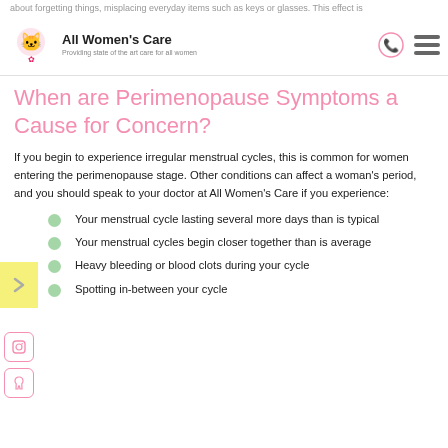All Women's Care — Providing state of the art care for all women
about forgetting things, misplacing everyday items such as keys or glasses. This effect is temporary, and cognitive
When are Perimenopause Symptoms a Cause for Concern?
If you begin to experience irregular menstrual cycles, this is common for women entering the perimenopause stage. Other conditions can affect a woman's period, and you should speak to your doctor at All Women's Care if you experience:
Your menstrual cycle lasting several more days than is typical
Your menstrual cycles begin closer together than is average
Heavy bleeding or blood clots during your cycle
Spotting in-between your cycle